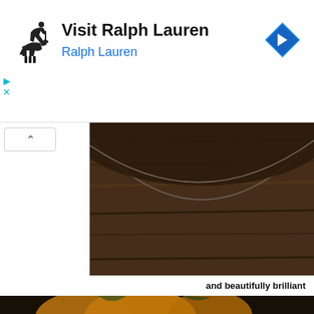[Figure (screenshot): Ralph Lauren advertisement banner with polo horse logo on left, 'Visit Ralph Lauren' title in bold black, 'Ralph Lauren' in blue, and a blue navigation arrow icon on the right]
[Figure (photo): Top portion of a dark bowl on a wooden table surface, partially cropped]
and beautifully brilliant
[Figure (photo): Close-up photo of roasted acorn squash slices in a dark bowl, showing orange flesh with green skin, seasoned with herbs and spices]